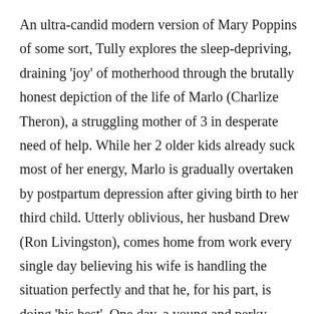An ultra-candid modern version of Mary Poppins of some sort, Tully explores the sleep-depriving, draining 'joy' of motherhood through the brutally honest depiction of the life of Marlo (Charlize Theron), a struggling mother of 3 in desperate need of help. While her 2 older kids already suck most of her energy, Marlo is gradually overtaken by postpartum depression after giving birth to her third child. Utterly oblivious, her husband Drew (Ron Livingston), comes home from work every single day believing his wife is handling the situation perfectly and that he, for his part, is doing 'his best'. One day, a young and perky woman named Tully (Mackenzie Davis), hired by Marlo's rich brother,